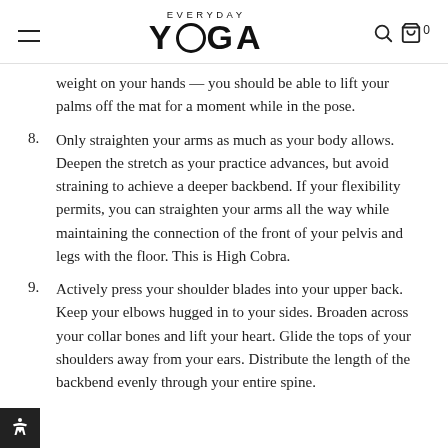EVERYDAY YOGA
weight on your hands — you should be able to lift your palms off the mat for a moment while in the pose.
8. Only straighten your arms as much as your body allows. Deepen the stretch as your practice advances, but avoid straining to achieve a deeper backbend. If your flexibility permits, you can straighten your arms all the way while maintaining the connection of the front of your pelvis and legs with the floor. This is High Cobra.
9. Actively press your shoulder blades into your upper back. Keep your elbows hugged in to your sides. Broaden across your collar bones and lift your heart. Glide the tops of your shoulders away from your ears. Distribute the length of the backbend evenly through your entire spine.